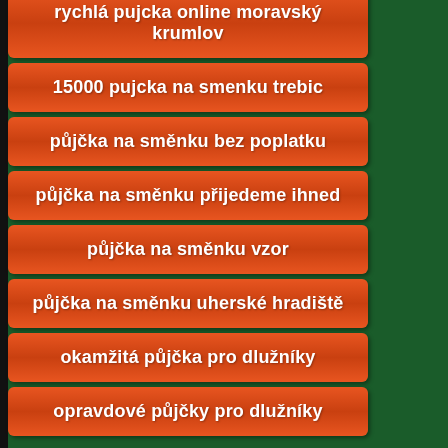rychlá pujcka online moravský krumlov
15000 pujcka na smenku trebic
půjčka na směnku bez poplatku
půjčka na směnku přijedeme ihned
půjčka na směnku vzor
půjčka na směnku uherské hradiště
okamžitá půjčka pro dlužníky
opravdové půjčky pro dlužníky